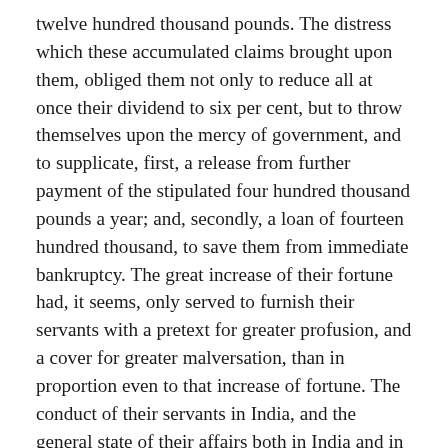twelve hundred thousand pounds. The distress which these accumulated claims brought upon them, obliged them not only to reduce all at once their dividend to six per cent, but to throw themselves upon the mercy of government, and to supplicate, first, a release from further payment of the stipulated four hundred thousand pounds a year; and, secondly, a loan of fourteen hundred thousand, to save them from immediate bankruptcy. The great increase of their fortune had, it seems, only served to furnish their servants with a pretext for greater profusion, and a cover for greater malversation, than in proportion even to that increase of fortune. The conduct of their servants in India, and the general state of their affairs both in India and in Europe, became the subject of a Parliamentary inquiry, in consequence of which several very important alternations were made in the constitution of their government, both at home and abroad. In India their principal settlements of Madras, Bombay, and Calcutta, which had before been altogether independent of one another, were subjected to a